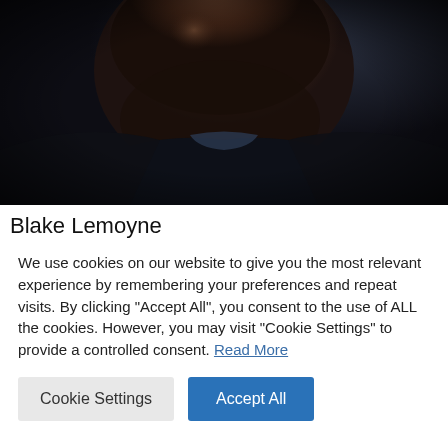[Figure (photo): Close-up portrait photo of Blake Lemoyne, a dark-skinned man photographed from below the chin, wearing a dark jacket, against a dark background]
Blake Lemoyne
We use cookies on our website to give you the most relevant experience by remembering your preferences and repeat visits. By clicking "Accept All", you consent to the use of ALL the cookies. However, you may visit "Cookie Settings" to provide a controlled consent. Read More